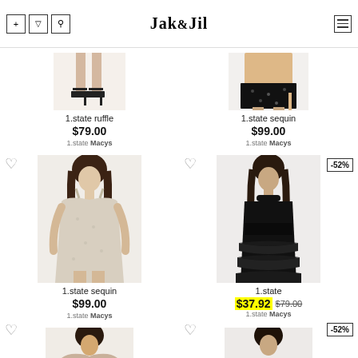Jak&Jil
[Figure (photo): Partial crop of woman's legs/feet in black ankle-strap heels - 1.state ruffle product]
1.state ruffle
$79.00
1.state Macys
[Figure (photo): Partial crop of woman wearing black sequin mini skirt - 1.state sequin product]
1.state sequin
$99.00
1.state Macys
[Figure (photo): Woman wearing white/cream sequin spaghetti-strap mini dress - 1.state sequin product]
1.state sequin
$99.00
1.state Macys
[Figure (photo): Woman wearing black sleeveless tiered ruffle dress with mock neck - 1.state product, -52% badge]
1.state
$37.92 $79.00
1.state Macys
[Figure (photo): Partial crop - bottom row left product, woman in dress (partially visible)]
[Figure (photo): Partial crop - bottom row right product (partially visible), -52% badge]